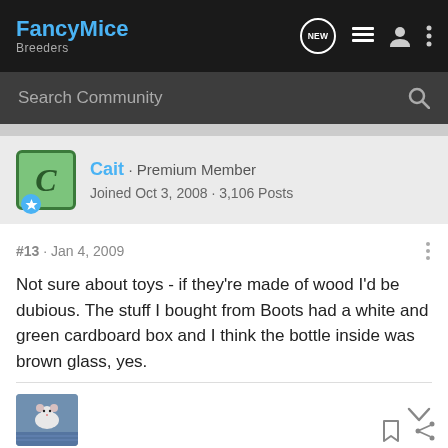FancyMice Breeders
Search Community
Cait · Premium Member
Joined Oct 3, 2008 · 3,106 Posts
#13 · Jan 4, 2009
Not sure about toys - if they're made of wood I'd be dubious. The stuff I bought from Boots had a white and green cardboard box and I think the bottle inside was brown glass, yes.
[Figure (photo): Small white mouse or rat on a blue surface, thumbnail photo]